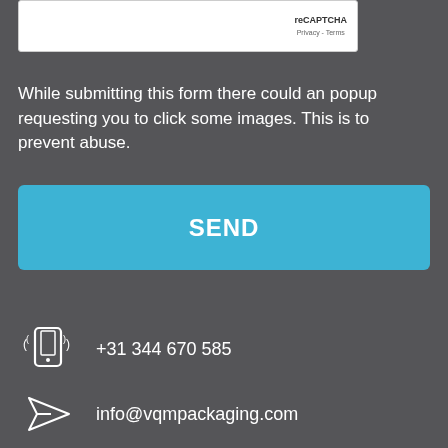[Figure (screenshot): reCAPTCHA widget box with 'reCAPTCHA' label and 'Privacy - Terms' links]
While submitting this form there could an popup requesting you to click some images. This is to prevent abuse.
[Figure (other): SEND button (blue rounded rectangle)]
+31 344 670 585
info@vqmpackaging.com